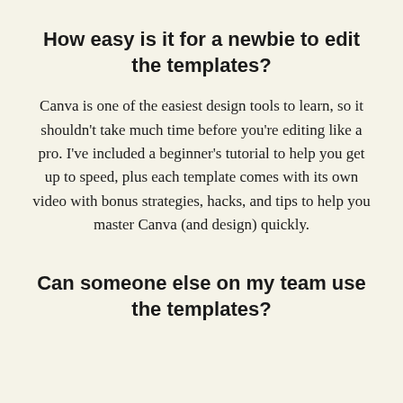How easy is it for a newbie to edit the templates?
Canva is one of the easiest design tools to learn, so it shouldn’t take much time before you’re editing like a pro. I’ve included a beginner’s tutorial to help you get up to speed, plus each template comes with its own video with bonus strategies, hacks, and tips to help you master Canva (and design) quickly.
Can someone else on my team use the templates?